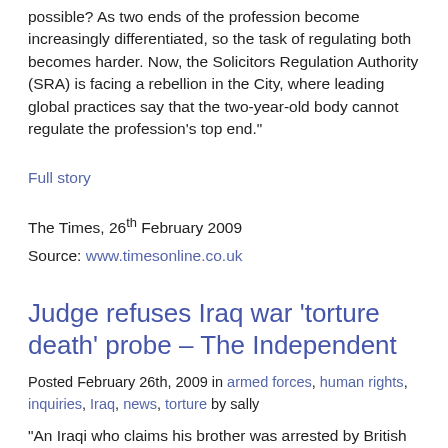possible? As two ends of the profession become increasingly differentiated, so the task of regulating both becomes harder. Now, the Solicitors Regulation Authority (SRA) is facing a rebellion in the City, where leading global practices say that the two-year-old body cannot regulate the profession’s top end.”
Full story
The Times, 26th February 2009
Source: www.timesonline.co.uk
Judge refuses Iraq war ‘torture death’ probe – The Independent
Posted February 26th, 2009 in armed forces, human rights, inquiries, Iraq, news, torture by sally
“An Iraqi who claims his brother was arrested by British forces